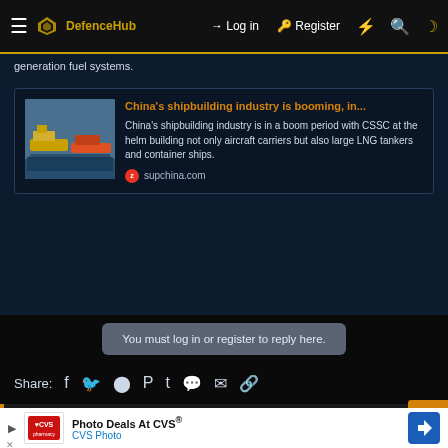DefenceHub — Log in | Register
generation fuel systems.
[Figure (screenshot): Link preview card for 'China's shipbuilding industry is booming, in...' with thumbnail of ships, description text, and supchina.com source.]
You must log in or register to reply here.
Share:
Follow us on social media
[Figure (other): CVS Photo advertisement banner: 'Photo Deals At CVS® CVS Photo' with navigation arrow icon]